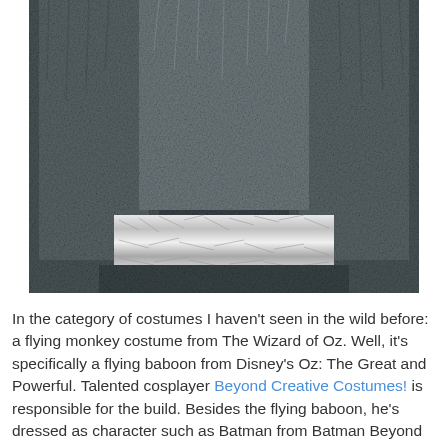[Figure (photo): Close-up photo of a flying monkey costume made of grey/dark fur fabric, with a silver/metallic foil band around the midsection. The background is a plain light grey wall.]
In the category of costumes I haven't seen in the wild before: a flying monkey costume from The Wizard of Oz. Well, it's specifically a flying baboon from Disney's Oz: The Great and Powerful. Talented cosplayer Beyond Creative Costumes! is responsible for the build. Besides the flying baboon, he's dressed as character such as Batman from Batman Beyond and Ruby Rhod from The Fifth Element.